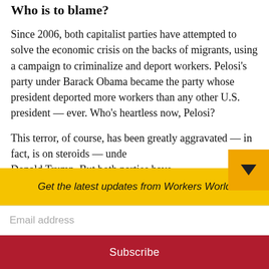Who is to blame?
Since 2006, both capitalist parties have attempted to solve the economic crisis on the backs of migrants, using a campaign to criminalize and deport workers. Pelosi’s party under Barack Obama became the party whose president deported more workers than any other U.S. president — ever. Who’s heartless now, Pelosi?
This terror, of course, has been greatly aggravated — in fact, is on steroids — unde Donald Trump. But both parties have
Get the latest updates from Workers World
Email address
Subscribe